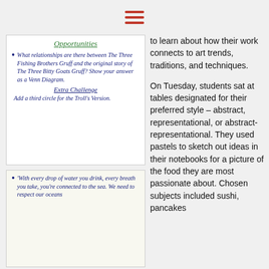hamburger menu icon
[Figure (photo): A handwritten whiteboard/poster titled 'Opportunities' with a bullet point asking about relationships between The Three Fishing Brothers Gruff and The Three Bitty Goats Gruff, with instructions to show answer as a Venn Diagram. Extra Challenge: Add a third circle for the Troll's Version.]
[Figure (photo): A handwritten poster with a bullet point reading: 'With every drop of water you drink, every breath you take, you're connected to the sea. We need to respect our oceans...' (text cut off)]
to learn about how their work connects to art trends, traditions, and techniques.
On Tuesday, students sat at tables designated for their preferred style – abstract, representational, or abstract-representational. They used pastels to sketch out ideas in their notebooks for a picture of the food they are most passionate about. Chosen subjects included sushi, pancakes